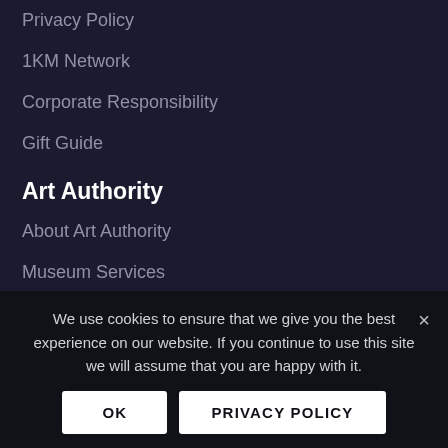Privacy Policy
1KM Network
Corporate Responsibility
Gift Guide
Art Authority
About Art Authority
Museum Services
Our Green Initiative
We use cookies to ensure that we give you the best experience on our website. If you continue to use this site we will assume that you are happy with it.
OK   PRIVACY POLICY